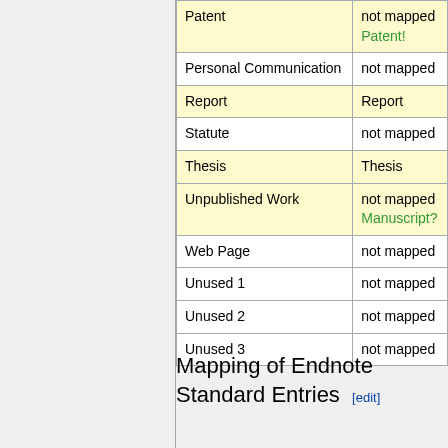| Reference Type | Mapping |
| --- | --- |
| Patent | not mapped
Patent! |
| Personal Communication | not mapped |
| Report | Report |
| Statute | not mapped |
| Thesis | Thesis |
| Unpublished Work | not mapped
Manuscript? |
| Web Page | not mapped |
| Unused 1 | not mapped |
| Unused 2 | not mapped |
| Unused 3 | not mapped |
Mapping of Endnote Standard Entries [edit]